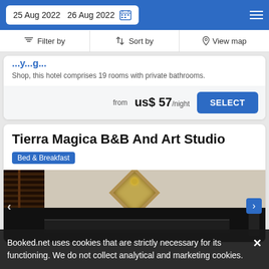25 Aug 2022  26 Aug 2022
Filter by  |  Sort by  |  View map
Shop, this hotel comprises 19 rooms with private bathrooms.
from us$ 57/night  SELECT
Tierra Magica B&B And Art Studio
Bed & Breakfast
[Figure (photo): Interior hotel room photo showing shuttered wooden doors on the left, a decorative diamond-shaped mirror/frame on the wall, and dark furniture]
Booked.net uses cookies that are strictly necessary for its functioning. We do not collect analytical and marketing cookies.